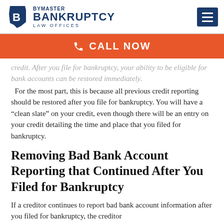Bymaster Bankruptcy Law Offices
[Figure (other): Orange call-to-action banner with phone icon and text CALL NOW]
credit. After you file for bankruptcy, your ability to be eligible for bank accounts can be restored immediately. For the most part, this is because all previous credit reporting should be restored after you file for bankruptcy. You will have a "clean slate" on your credit, even though there will be an entry on your credit detailing the time and place that you filed for bankruptcy.
Removing Bad Bank Account Reporting that Continued After You Filed for Bankruptcy
If a creditor continues to report bad bank account information after you filed for bankruptcy, the creditor